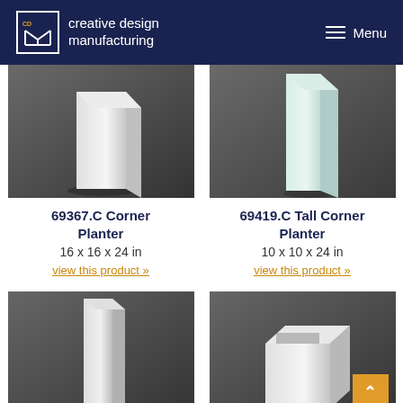creative design manufacturing — Menu
[Figure (photo): White corner planter product photo on dark background]
69367.C Corner Planter
16 x 16 x 24 in
view this product »
[Figure (photo): White tall corner planter product photo on dark background]
69419.C Tall Corner Planter
10 x 10 x 24 in
view this product »
[Figure (photo): White tall rectangular planter product photo on dark background]
[Figure (photo): White square planter product photo on dark background with orange scroll button]